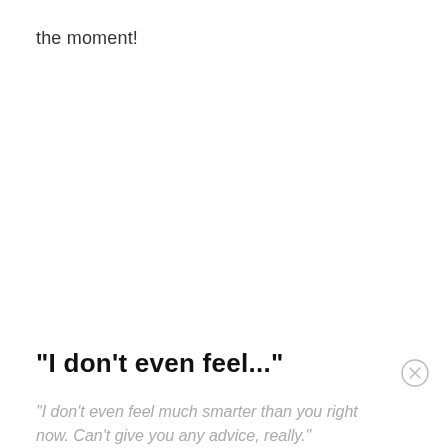the moment!
"I don't even feel..."
"I don't even feel much smarter than you right now. Can't give you any advice, really."